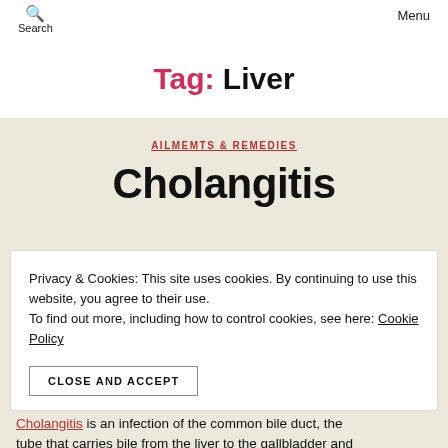Search  Menu
Tag: Liver
AILMEMTS & REMEDIES
Cholangitis
Privacy & Cookies: This site uses cookies. By continuing to use this website, you agree to their use. To find out more, including how to control cookies, see here: Cookie Policy
CLOSE AND ACCEPT
Cholangitis is an infection of the common bile duct, the tube that carries bile from the liver to the gallbladder and